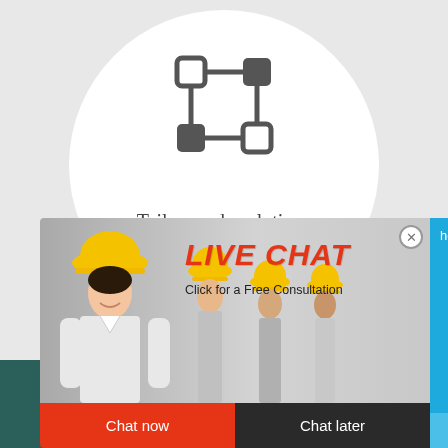[Figure (illustration): Icon showing four rounded squares connected by lines in a network/topology pattern, centered in a white circle on a light gray background.]
Tailor-made solutions
[Figure (screenshot): Live chat popup overlay showing workers in yellow hard hats. Contains LIVE CHAT header in red italic, subtitle 'Click for a Free Consultation', red 'Chat now' button and dark 'Chat later' button. Right panel is blue with 'hour online' text, image of crushing machine, and 'Click me to chat>>' button.]
Assist in drawing up the cor
[Figure (logo): Yellow speech bubble with three dots (WeChat-style icon) next to 'Chat Online' text in white on dark teal background.]